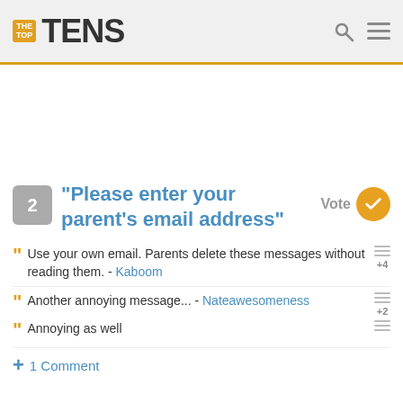TheTopTens
2 - "Please enter your parent's email address"
Use your own email. Parents delete these messages without reading them. - Kaboom
Another annoying message... - Nateawesomeness
Annoying as well
+ 1 Comment